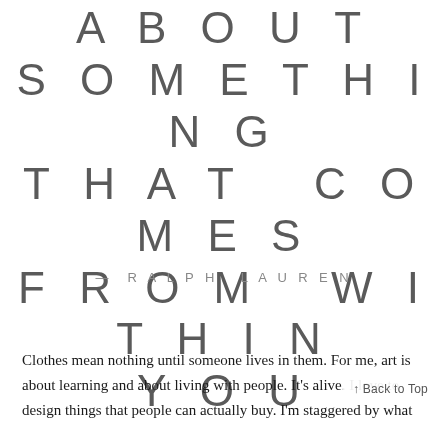ABOUT SOMETHING THAT COMES FROM WITHIN YOU
— RALPH LAUREN
Clothes mean nothing until someone lives in them. For me, art is about learning and about living with people. It's alive. I love to design things that people can actually buy. I'm staggered by what people want to buy. The fashion designer manages to make people look like they're wearing someone else's clothes.